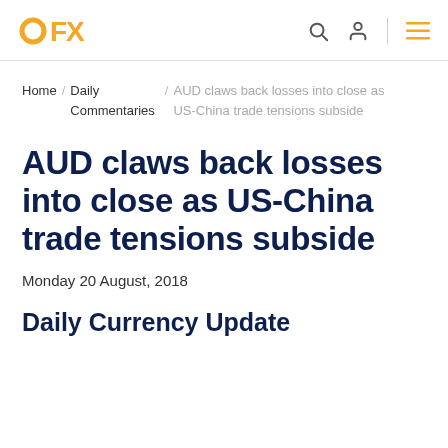OFX
Home / Daily Commentaries / AUD claws back losses into close as US-China trade tensions subside
AUD claws back losses into close as US-China trade tensions subside
Monday 20 August, 2018
Daily Currency Update